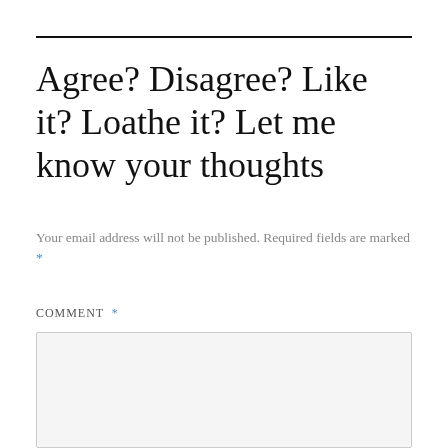Agree? Disagree? Like it? Loathe it? Let me know your thoughts
Your email address will not be published. Required fields are marked *
COMMENT *